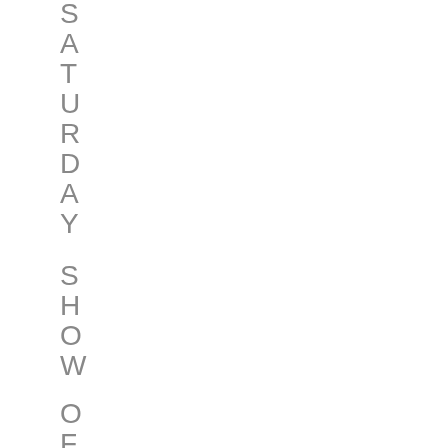SATURDAY SHOW OF
S
A
T
U
R
D
A
Y
S
H
O
W
O
F